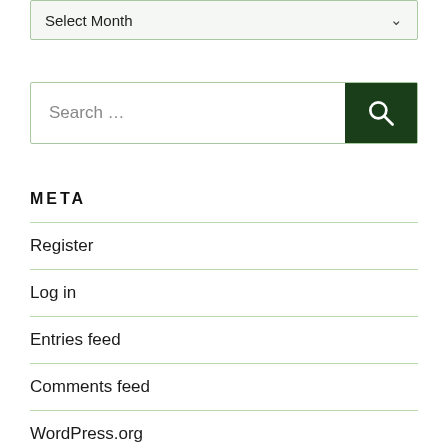Select Month
Search …
META
Register
Log in
Entries feed
Comments feed
WordPress.org